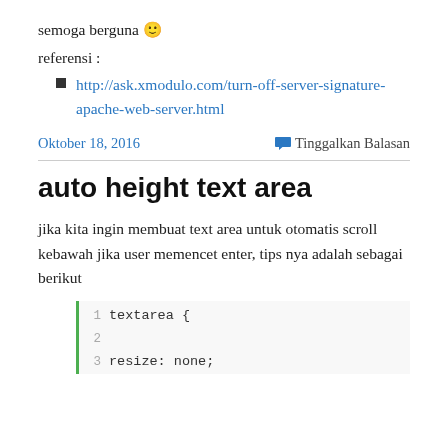semoga berguna 🙂
referensi :
http://ask.xmodulo.com/turn-off-server-signature-apache-web-server.html
Oktober 18, 2016
💬 Tinggalkan Balasan
auto height text area
jika kita ingin membuat text area untuk otomatis scroll kebawah jika user memencet enter, tips nya adalah sebagai berikut
[Figure (screenshot): Code block showing CSS for textarea with line numbers 1, 2, 3. Line 1: textarea {, Line 2: (empty), Line 3: resize: none;]